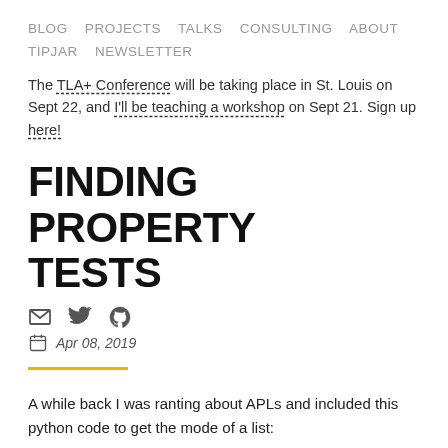BLOG   PROJECTS   TALKS   CONSULTING   ABOUT   TIPJAR   NEWSLETTER
The TLA+ Conference will be taking place in St. Louis on Sept 22, and I'll be teaching a workshop on Sept 21. Sign up here!
FINDING PROPERTY TESTS
Apr 08, 2019
A while back I was ranting about APLs and included this python code to get the mode of a list: